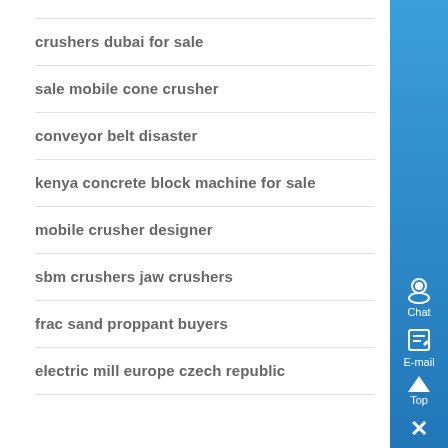crushers dubai for sale
sale mobile cone crusher
conveyor belt disaster
kenya concrete block machine for sale
mobile crusher designer
sbm crushers jaw crushers
frac sand proppant buyers
electric mill europe czech republic